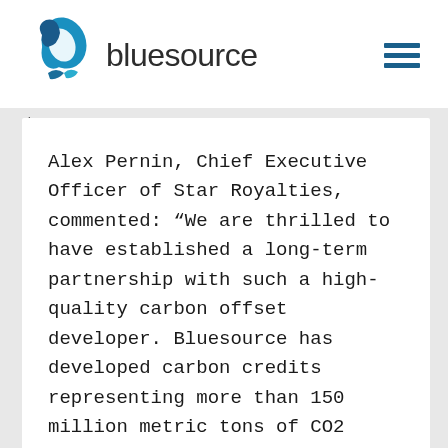[Figure (logo): Bluesource logo with teal/blue leaf-like swirl graphic and the text 'bluesource' in dark grey]
Alex Pernin, Chief Executive Officer of Star Royalties, commented: “We are thrilled to have established a long-term partnership with such a high-quality carbon offset developer. Bluesource has developed carbon credits representing more than 150 million metric tons of CO2…